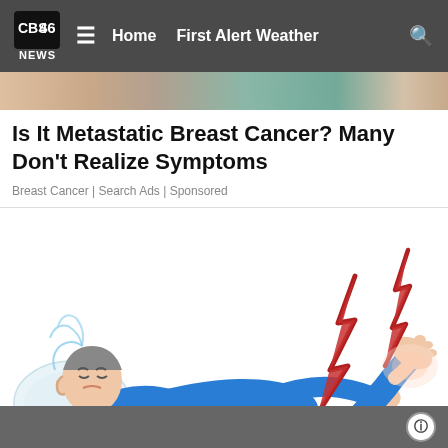CBS46 NEWS  ≡  Home  First Alert Weather  🔍
[Figure (photo): Top portion of a medical/health image showing skin tones, cropped at top]
Is It Metastatic Breast Cancer? Many Don't Realize Symptoms
Breast Cancer | Search Ads | Sponsored
[Figure (illustration): Illustration of a person in blue pajamas lying down in pain, with red lightning bolt symbols around their leg/foot indicating pain, and a pillow under their head]